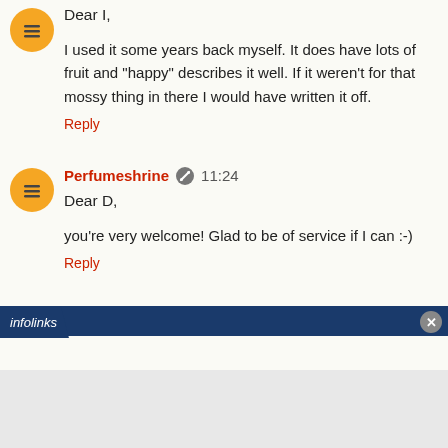Dear I,

I used it some years back myself. It does have lots of fruit and "happy" describes it well. If it weren't for that mossy thing in there I would have written it off.
Reply
Perfumeshrine 11:24
Dear D,

you're very welcome! Glad to be of service if I can :-)
Reply
[Figure (other): Infolinks advertisement bar at the bottom with a close button]